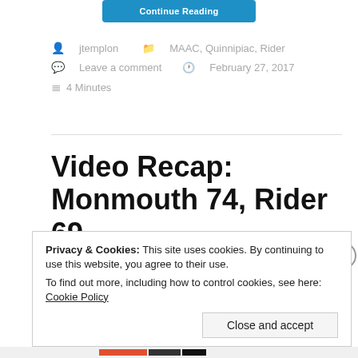[Figure (screenshot): Blue 'Continue Reading' button at top of page]
jtemplon   MAAC, Quinnipiac, Rider
Leave a comment   February 27, 2017
4 Minutes
Video Recap: Monmouth 74, Rider 69
Privacy & Cookies: This site uses cookies. By continuing to use this website, you agree to their use.
To find out more, including how to control cookies, see here: Cookie Policy
Close and accept